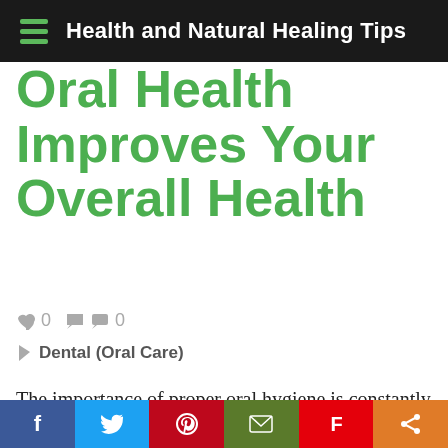Health and Natural Healing Tips
Oral Health Improves Your Overall Health
♥ 0  ● 0
Dental (Oral Care)
The importance of proper oral hygiene is constantly stressed. This is not just because a bright white smile is considered beautiful. The mouth-body connection is a serious issue that shouldn't be overlooked. Essentially,
f  Twitter  Pinterest  Email  Flipboard  Share